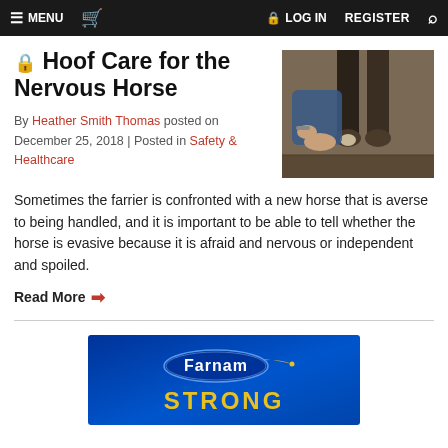MENU | LOG IN | REGISTER
🔒 Hoof Care for the Nervous Horse
By Heather Smith Thomas posted on December 25, 2018 | Posted in Safety & Healthcare
[Figure (photo): Person holding and examining a horse hoof from behind, close-up view of hands and hooves on dirt ground]
Sometimes the farrier is confronted with a new horse that is averse to being handled, and it is important to be able to tell whether the horse is evasive because it is afraid and nervous or independent and spoiled.
Read More →
[Figure (logo): Farnam STRONG advertisement banner with blue background, Farnam logo in white oval with yellow swoosh, and STRONG text in yellow]